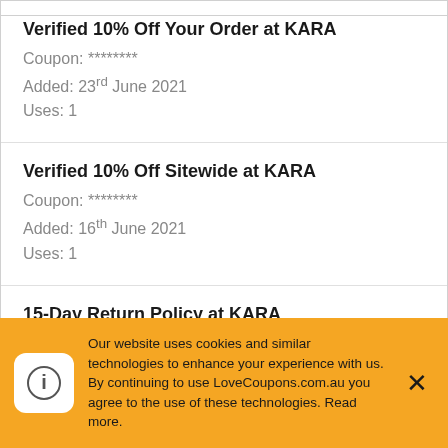Verified 10% Off Your Order at KARA
Coupon: ********
Added: 23rd June 2021
Uses: 1
Verified 10% Off Sitewide at KARA
Coupon: ********
Added: 16th June 2021
Uses: 1
15-Day Return Policy at KARA
Coupon: ********
Added: 15th April 2020
Uses: 1
Our website uses cookies and similar technologies to enhance your experience with us. By continuing to use LoveCoupons.com.au you agree to the use of these technologies. Read more.